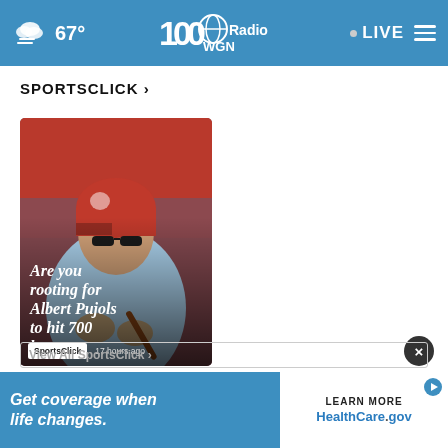67° WGN Radio LIVE
SPORTSCLICK ›
[Figure (photo): Baseball player wearing a red Cardinals helmet and light blue jersey, looking down. Text overlay reads: Are you rooting for Albert Pujols to hit 700 home...]
SportsClick  17 hours ago
View All SportsClick ›
[Figure (infographic): Advertisement banner: 'Get coverage when life changes.' with LEARN MORE / HealthCare.gov on the right]